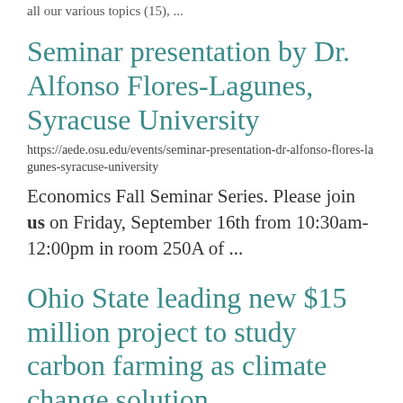all our various topics (15), ...
Seminar presentation by Dr. Alfonso Flores-Lagunes, Syracuse University
https://aede.osu.edu/events/seminar-presentation-dr-alfonso-flores-lagunes-syracuse-university
Economics Fall Seminar Series. Please join us on Friday, September 16th from 10:30am-12:00pm in room 250A of ...
Ohio State leading new $15 million project to study carbon farming as climate change solution
https://cfaes.osu.edu/news/articles/ohio-state-